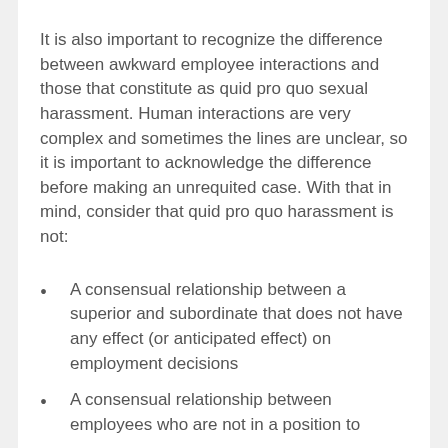It is also important to recognize the difference between awkward employee interactions and those that constitute as quid pro quo sexual harassment. Human interactions are very complex and sometimes the lines are unclear, so it is important to acknowledge the difference before making an unrequited case. With that in mind, consider that quid pro quo harassment is not:
A consensual relationship between a superior and subordinate that does not have any effect (or anticipated effect) on employment decisions
A consensual relationship between employees who are not in a position to